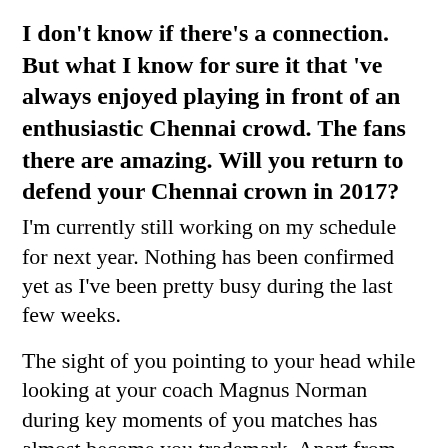I don't know if there's a connection. But what I know for sure it that 've always enjoyed playing in front of an enthusiastic Chennai crowd. The fans there are amazing. Will you return to defend your Chennai crown in 2017?
I'm currently still working on my schedule for next year. Nothing has been confirmed yet as I've been pretty busy during the last few weeks.
The sight of you pointing to your head while looking at your coach Magnus Norman during key moments of you matches has almost become you trademark. Apart from